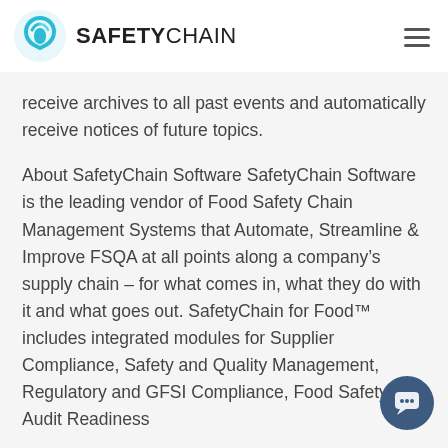SAFETYCHAIN
receive archives to all past events and automatically receive notices of future topics.
About SafetyChain Software SafetyChain Software is the leading vendor of Food Safety Chain Management Systems that Automate, Streamline & Improve FSQA at all points along a company's supply chain – for what comes in, what they do with it and what goes out. SafetyChain for Food™ includes integrated modules for Supplier Compliance, Safety and Quality Management, Regulatory and GFSI Compliance, Food Safety Audit Readiness